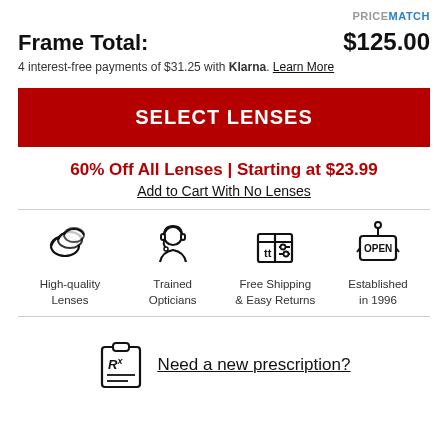PRICE MATCH
Frame Total: $125.00
4 interest-free payments of $31.25 with Klarna. Learn More
SELECT LENSES
60% Off All Lenses | Starting at $23.99
Add to Cart With No Lenses
[Figure (illustration): Four icons: High-quality Lenses (stacked lenses), Trained Opticians (headset person), Free Shipping & Easy Returns (box with sliders), Established in 1996 (open sign)]
Need a new prescription?